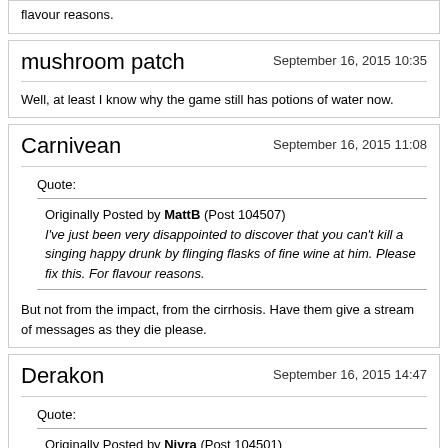flavour reasons.
mushroom patch
September 16, 2015 10:35
Well, at least I know why the game still has potions of water now.
Carnivean
September 16, 2015 11:08
Quote:
Originally Posted by MattB (Post 104507)
I've just been very disappointed to discover that you can't kill a singing happy drunk by flinging flasks of fine wine at him. Please fix this. For flavour reasons.
But not from the impact, from the cirrhosis. Have them give a stream of messages as they die please.
Derakon
September 16, 2015 14:47
Quote:
Originally Posted by Nivra (Post 104501)